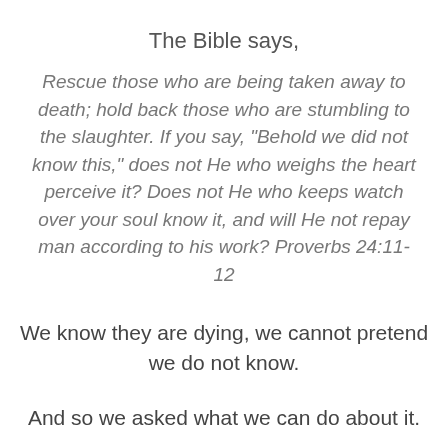The Bible says,
Rescue those who are being taken away to death; hold back those who are stumbling to the slaughter. If you say, "Behold we did not know this," does not He who weighs the heart perceive it? Does not He who keeps watch over your soul know it, and will He not repay man according to his work? Proverbs 24:11-12
We know they are dying, we cannot pretend we do not know.
And so we asked what we can do about it.